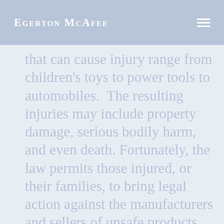Egerton McAfee
that can cause injury range from children’s toys to power tools to automobiles.  The resulting injuries may include property damage, serious bodily harm, and even death. Fortunately, the law permits those injured, or their families, to bring legal action against the manufacturers and sellers of unsafe products.
Egerton McAfee’s attorneys routinely represent our clients from the inception of their legal matters through the resolution